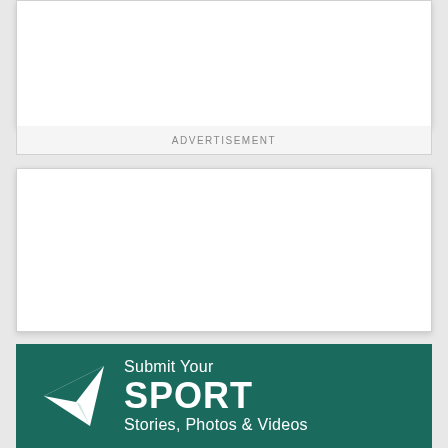[Figure (other): Top advertisement placeholder box, white background]
ADVERTISEMENT
[Figure (other): Bottom advertisement placeholder box, white background]
[Figure (infographic): Teal promotional banner with paper plane icon and text: Submit Your SPORT Stories, Photos & Videos]